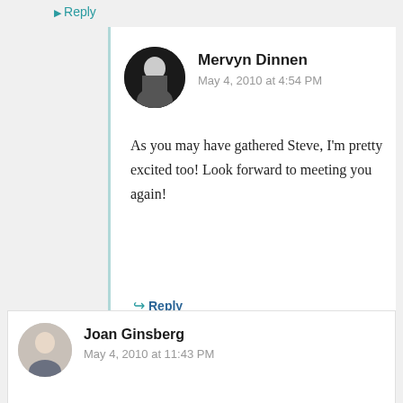Reply
Mervyn Dinnen
May 4, 2010 at 4:54 PM
As you may have gathered Steve, I'm pretty excited too! Look forward to meeting you again!
Reply
Joan Ginsberg
May 4, 2010 at 11:43 PM